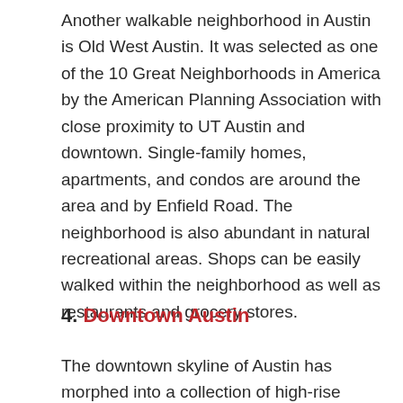Another walkable neighborhood in Austin is Old West Austin. It was selected as one of the 10 Great Neighborhoods in America by the American Planning Association with close proximity to UT Austin and downtown. Single-family homes, apartments, and condos are around the area and by Enfield Road. The neighborhood is also abundant in natural recreational areas. Shops can be easily walked within the neighborhood as well as restaurants and grocery stores.
4. Downtown Austin
The downtown skyline of Austin has morphed into a collection of high-rise condos and commercial